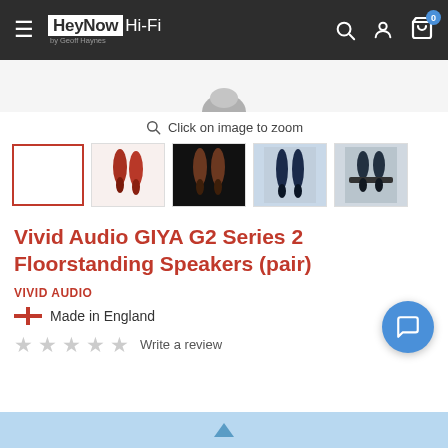HeyNow Hi-Fi by Geoff Haynes
[Figure (screenshot): Partial product image showing top of product, mostly cropped]
Click on image to zoom
[Figure (photo): Five product thumbnail images of Vivid Audio GIYA G2 Series 2 Floorstanding Speakers: white empty selected, red pair, dark pair on black background, blue pair near window, dark pair mounted]
Vivid Audio GIYA G2 Series 2 Floorstanding Speakers (pair)
VIVID AUDIO
Made in England
Write a review